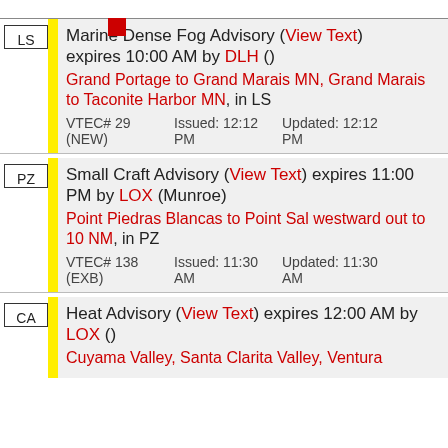LS | Marine Dense Fog Advisory (View Text) expires 10:00 AM by DLH () Grand Portage to Grand Marais MN, Grand Marais to Taconite Harbor MN, in LS | VTEC# 29 (NEW) | Issued: 12:12 PM | Updated: 12:12 PM
PZ | Small Craft Advisory (View Text) expires 11:00 PM by LOX (Munroe) Point Piedras Blancas to Point Sal westward out to 10 NM, in PZ | VTEC# 138 (EXB) | Issued: 11:30 AM | Updated: 11:30 AM
CA | Heat Advisory (View Text) expires 12:00 AM by LOX () Cuyama Valley, Santa Clarita Valley, Ventura